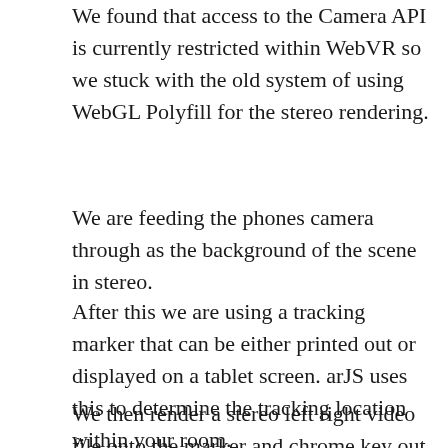We found that access to the Camera API is currently restricted within WebVR so we stuck with the old system of using WebGL Polyfill for the stereo rendering.
We are feeding the phones camera through as the background of the scene in stereo.
After this we are using a tracking marker that can be either printed out or displayed on a tablet screen. arJS uses this to determine the tracking location within your room.
We then render a stereo left right video file onto the marker and chrome key out the green screen that exists on the video.